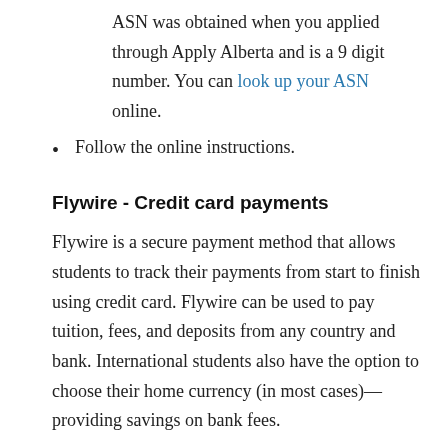ASN was obtained when you applied through Apply Alberta and is a 9 digit number. You can look up your ASN online.
Follow the online instructions.
Flywire - Credit card payments
Flywire is a secure payment method that allows students to track their payments from start to finish using credit card. Flywire can be used to pay tuition, fees, and deposits from any country and bank. International students also have the option to choose their home currency (in most cases)—providing savings on bank fees.
To use this service, students need to create a Flywire account with basic personal information. A service charge